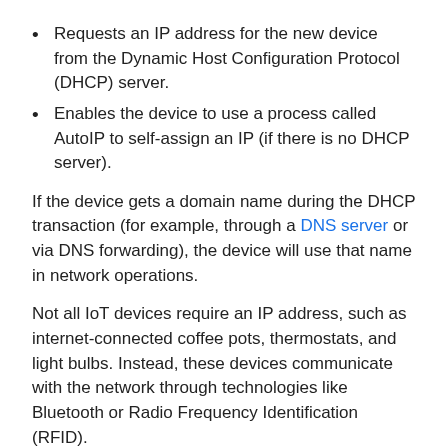Requests an IP address for the new device from the Dynamic Host Configuration Protocol (DHCP) server.
Enables the device to use a process called AutoIP to self-assign an IP (if there is no DHCP server).
If the device gets a domain name during the DHCP transaction (for example, through a DNS server or via DNS forwarding), the device will use that name in network operations.
Not all IoT devices require an IP address, such as internet-connected coffee pots, thermostats, and light bulbs. Instead, these devices communicate with the network through technologies like Bluetooth or Radio Frequency Identification (RFID).
Discovery